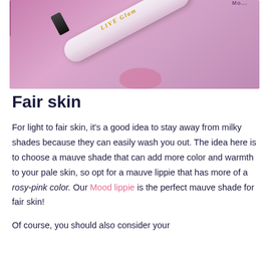[Figure (photo): A pink lip gloss tube with gold lettering on a pink background, with a pink liquid drip effect.]
Fair skin
For light to fair skin, it's a good idea to stay away from milky shades because they can easily wash you out. The idea here is to choose a mauve shade that can add more color and warmth to your pale skin, so opt for a mauve lippie that has more of a rosy-pink color. Our Mood lippie is the perfect mauve shade for fair skin!
Of course, you should also consider your